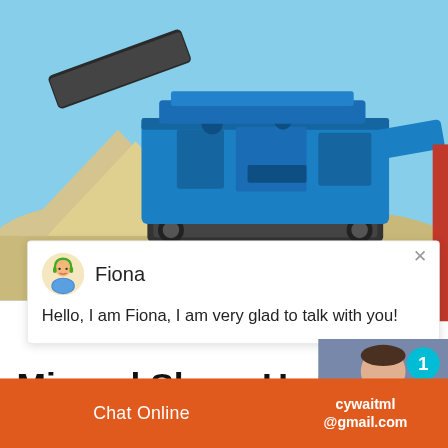[Figure (photo): Blue mobile mining/screening machine (crusher/screen plant) on sandy ground outdoors with blue sky background and sand piles]
Fiona
Hello, I am Fiona, I am very glad to talk with you!
Mineral Slurry Used Mixing Tank Specifications For
Mineral Slurry Used Mixing Tank Specifications For Processing Line , Find Complete Details ab...
[Figure (photo): Customer service representative photo with cyan badge showing number 1, Click to chat button, and Enquiry button]
Chat Online
cywaitml@gmail.com